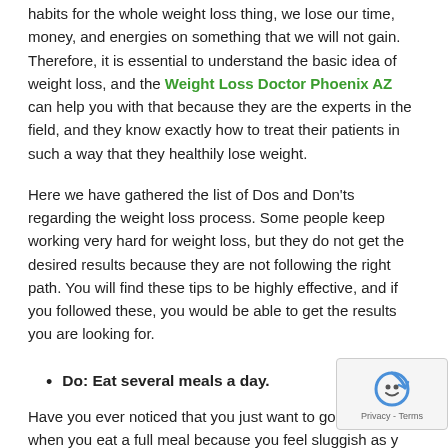habits for the whole weight loss thing, we lose our time, money, and energies on something that we will not gain. Therefore, it is essential to understand the basic idea of weight loss, and the Weight Loss Doctor Phoenix AZ can help you with that because they are the experts in the field, and they know exactly how to treat their patients in such a way that they healthily lose weight.
Here we have gathered the list of Dos and Don'ts regarding the weight loss process. Some people keep working very hard for weight loss, but they do not get the desired results because they are not following the right path. You will find these tips to be highly effective, and if you followed these, you would be able to get the results you are looking for.
Do: Eat several meals a day.
Have you ever noticed that you just want to go to bed and when you eat a full meal because you feel sluggish as your stomach has gone heavy? Therefore, in this case, the best tip is...